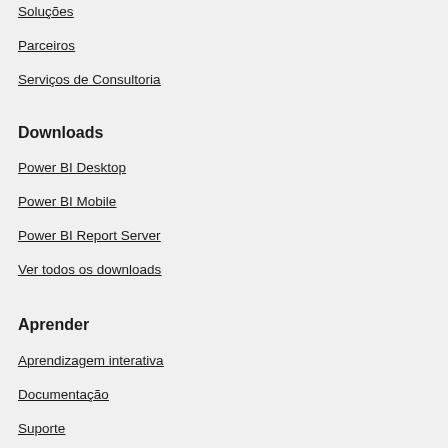Soluções
Parceiros
Serviços de Consultoria
Downloads
Power BI Desktop
Power BI Mobile
Power BI Report Server
Ver todos os downloads
Aprender
Aprendizagem interativa
Documentação
Suporte